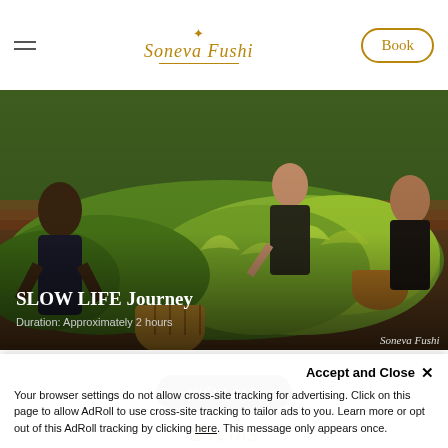Soneva Fushi — navigation header with Book button
[Figure (photo): People harvesting herbs/plants in a garden with wicker baskets, lush green leafy plants in raised beds. Overlaid text: SLOW LIFE Journey, Duration: Approximately 2 hours, Soneva Fushi]
SLOW LIFE Journey
Duration: Approximately 2 hours
Soneva Fushi
VIEW ALL
Events
Accept and Close ✕
Your browser settings do not allow cross-site tracking for advertising. Click on this page to allow AdRoll to use cross-site tracking to tailor ads to you. Learn more or opt out of this AdRoll tracking by clicking here. This message only appears once.